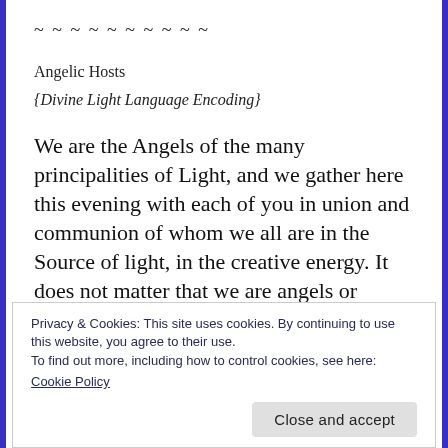~ ~ ~ ~ ~ ~ ~ ~ ~ ~
Angelic Hosts
{Divine Light Language Encoding}
We are the Angels of the many principalities of Light, and we gather here this evening with each of you in union and communion of whom we all are in the Source of light, in the creative energy. It does not matter that we are angels or whether we are represented by some other embodiment
Privacy & Cookies: This site uses cookies. By continuing to use this website, you agree to their use.
To find out more, including how to control cookies, see here:
Cookie Policy
Close and accept
us, to experience this beautiful time together.